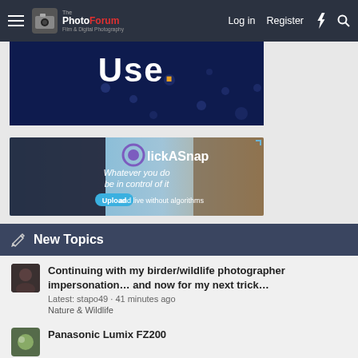The PhotoForum - Film & Digital Photography | Log in | Register
[Figure (screenshot): Dark blue advertisement banner with large white text 'Use.' and orange dot, with scattered blue circles]
[Figure (screenshot): ClickASnap advertisement: photographer holding camera on left, rocky landscape on right, text reads 'Whatever you do be in control of it Upload and live without algorithms']
New Topics
Continuing with my birder/wildlife photographer impersonation… and now for my next trick…
Latest: stapo49 · 41 minutes ago
Nature & Wildlife
Panasonic Lumix FZ200